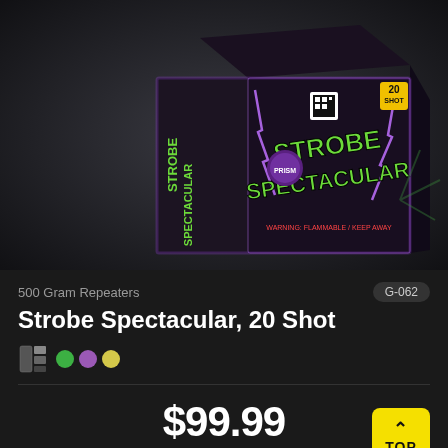[Figure (photo): Product photo of Strobe Spectacular 20 Shot fireworks box — black box with purple lightning design and green/yellow text on dark gray background]
500 Gram Repeaters
G-062
Strobe Spectacular, 20 Shot
[Figure (infographic): Color palette icon and three colored circles (green, purple, yellow) indicating firework colors]
$99.99
♡ Add to Favorites